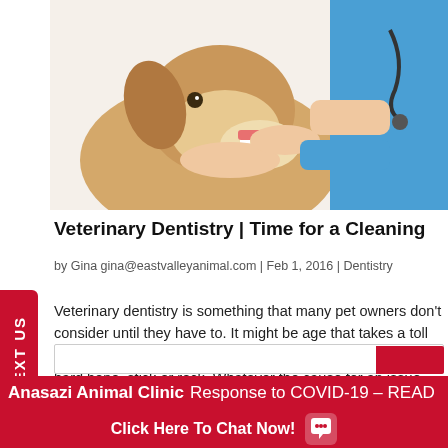[Figure (photo): A veterinarian in blue scrubs with a stethoscope examining a dog's teeth, holding the dog's mouth open]
Veterinary Dentistry | Time for a Cleaning
by Gina gina@eastvalleyanimal.com | Feb 1, 2016 | Dentistry
Veterinary dentistry is something that many pet owners don't consider until they have to. It might be age that takes a toll on your pet's teeth or perhaps it's a crack from chewing a hard bone, stick or rock. Whatever the cause for an issue, veterinary dentistry is a...
Anasazi Animal Clinic Response to COVID-19 – READ
Click Here To Chat Now!